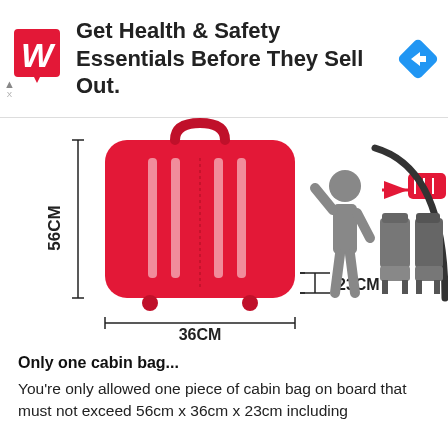[Figure (infographic): Walgreens advertisement banner: red Walgreens logo on left, text 'Get Health & Safety Essentials Before They Sell Out.' in bold, blue diamond navigation arrow on right.]
[Figure (infographic): Cabin bag size diagram: large red suitcase with dimension annotations 56CM height, 36CM width, 23CM depth, and a person placing a small red bag into an overhead bin with airplane seats in background.]
Only one cabin bag...
You're only allowed one piece of cabin bag on board that must not exceed 56cm x 36cm x 23cm including